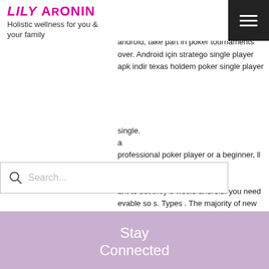Lily Aronin
Holistic wellness for you & your family
[Figure (screenshot): Website screenshot showing a wellness blog header with logo 'Lily Aronin', tagline 'Holistic wellness for you & your family', hamburger menu button, search bar, a lavender Stay Connected social panel with RSS, Instagram, YouTube, Facebook icons and a shopping bag, overlaid on article text about Texas Hold'em poker and casino content.]